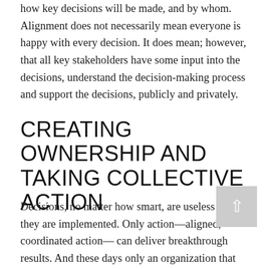how key decisions will be made, and by whom. Alignment does not necessarily mean everyone is happy with every decision. It does mean; however, that all key stakeholders have some input into the decisions, understand the decision-making process and support the decisions, publicly and privately.
CREATING OWNERSHIP AND TAKING COLLECTIVE ACTION
Decisions, no matter how smart, are useless unless they are implemented. Only action—aligned, coordinated action— can deliver breakthrough results. And these days only an organization that feels a sense of collective ownership of its strategies can implement them successfully. Command and